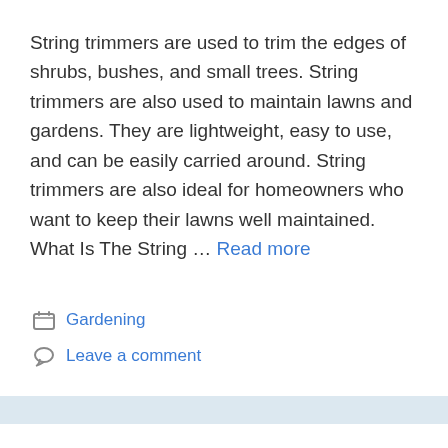String trimmers are used to trim the edges of shrubs, bushes, and small trees. String trimmers are also used to maintain lawns and gardens. They are lightweight, easy to use, and can be easily carried around. String trimmers are also ideal for homeowners who want to keep their lawns well maintained. What Is The String … Read more
Gardening
Leave a comment
Dewalt 20v vs 60v String Trimmer